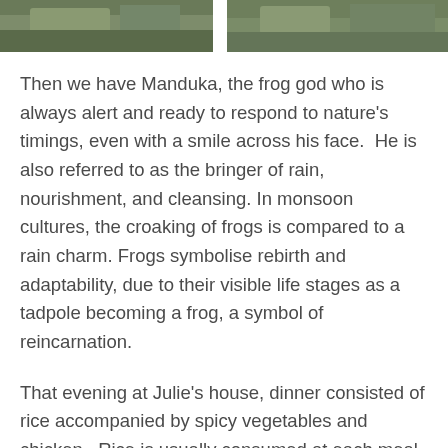[Figure (photo): Two cropped photos at the top of the page showing outdoor/nature scenes with green foliage, separated by a white gap.]
Then we have Manduka, the frog god who is always alert and ready to respond to nature's timings, even with a smile across his face.  He is also referred to as the bringer of rain, nourishment, and cleansing. In monsoon cultures, the croaking of frogs is compared to a rain charm. Frogs symbolise rebirth and adaptability, due to their visible life stages as a tadpole becoming a frog, a symbol of reincarnation.
That evening at Julie's house, dinner consisted of rice accompanied by spicy vegetables and chicken.  Rice is usually consumed at each meal, typically with duck, fish, or pork.  Being poor, this family might only afford a bit of chicken or fish, a few vegetables and fruit, that they obtain from local vendors on the roadsides.  After dinner we brushed our teeth outside of the shower using a tap, spitting